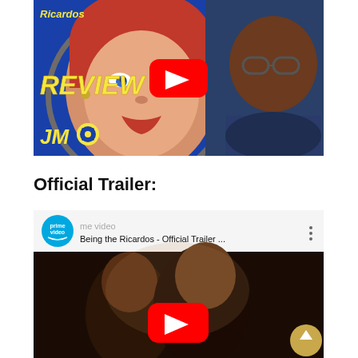[Figure (screenshot): YouTube video thumbnail for a movie review of 'Being the Ricardos'. Blue background with a woman (as Lucille Ball) with red hair and red lips on the left, a man with glasses on the right. Yellow text reads 'REVIEW' and 'JMO' with a film reel icon. A red YouTube play button is centered.]
Official Trailer:
[Figure (screenshot): YouTube video embed showing 'Being the Ricardos - Official Trailer ...' from Prime Video. Top bar shows the Prime Video logo (blue circle), title, and three-dot menu. The video content shows a scene of two people in dim lighting. A red YouTube play button is shown centered. A yellow scroll-up button is at bottom right.]